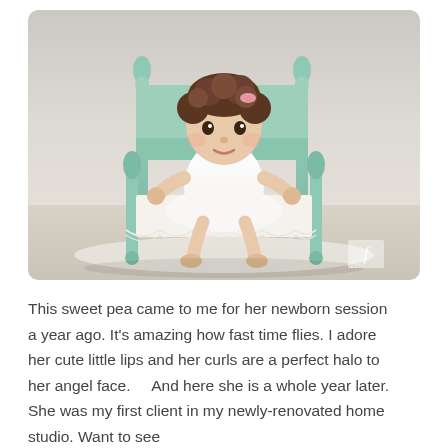[Figure (photo): A baby girl with curly hair and a pink headband, wearing a white dress, sitting on a small mint green four-poster bed with white lace bedding, against a neutral light background. A photographer watermark logo is visible in the lower right corner.]
This sweet pea came to me for her newborn session a year ago. It's amazing how fast time flies. I adore her cute little lips and her curls are a perfect halo to her angel face.    And here she is a whole year later. She was my first client in my newly-renovated home studio. Want to see